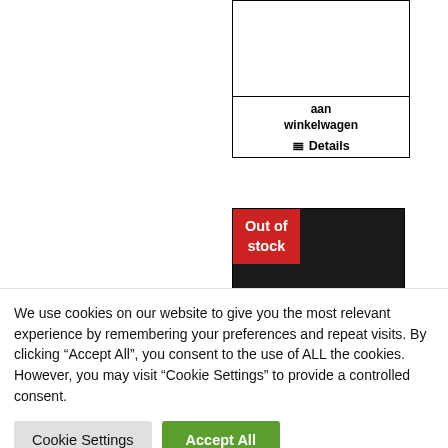[Figure (screenshot): Top partial product card (left) showing 'aan winkelwagen' add to cart button and Details link]
[Figure (screenshot): Top partial product card (right) showing 'aan winkelwa...' add to cart button and Details link partially visible]
[Figure (screenshot): Product card with 'Out of stock' red badge overlaid on dark product image, showing product title NL-RtSA_4301_104_029]
[Figure (screenshot): Product card showing person in teal jacket, product title NL-RtSA_4301... with Toevoege button]
We use cookies on our website to give you the most relevant experience by remembering your preferences and repeat visits. By clicking "Accept All", you consent to the use of ALL the cookies. However, you may visit "Cookie Settings" to provide a controlled consent.
Cookie Settings
Accept All